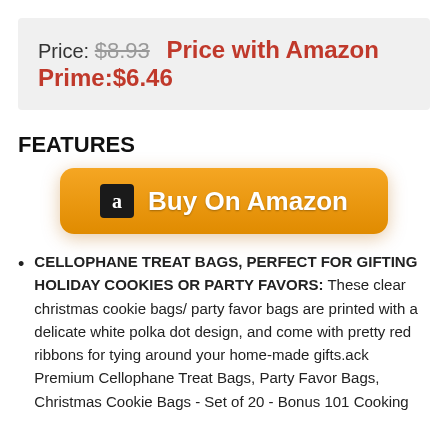Price: $8.93   Price with Amazon Prime:$6.46
FEATURES
[Figure (other): Orange 'Buy On Amazon' button with Amazon 'a' logo icon on the left]
CELLOPHANE TREAT BAGS, PERFECT FOR GIFTING HOLIDAY COOKIES OR PARTY FAVORS: These clear christmas cookie bags/ party favor bags are printed with a delicate white polka dot design, and come with pretty red ribbons for tying around your home-made gifts.ack Premium Cellophane Treat Bags, Party Favor Bags, Christmas Cookie Bags - Set of 20 - Bonus 101 Cooking